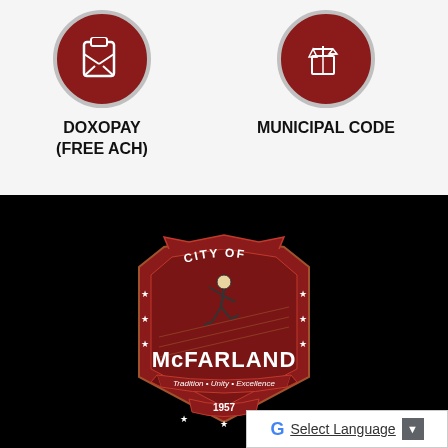[Figure (illustration): Red circular icon with envelope/document symbol for DOXOPAY]
DOXOPAY
(FREE ACH)
[Figure (illustration): Red circular icon with scales of justice symbol for MUNICIPAL CODE]
MUNICIPAL CODE
[Figure (logo): City of McFarland seal/logo with runner figure, red shield shape, text: Tradition • Unity • Excellence, 1957, on black background]
Select Language